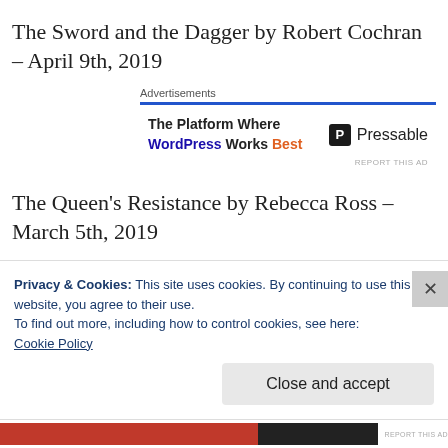The Sword and the Dagger by Robert Cochran – April 9th, 2019
[Figure (other): Advertisement banner: 'The Platform Where WordPress Works Best' with Pressable logo]
The Queen's Resistance by Rebecca Ross – March 5th, 2019
Rage by Cora Carmack – June 11th, 2019
Privacy & Cookies: This site uses cookies. By continuing to use this website, you agree to their use.
To find out more, including how to control cookies, see here: Cookie Policy
Close and accept